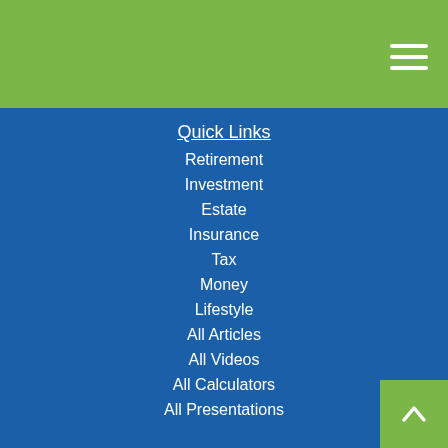[Figure (other): Green header bar with hamburger menu icon (three white horizontal lines) in top right]
Quick Links
Retirement
Investment
Estate
Insurance
Tax
Money
Lifestyle
All Articles
All Videos
All Calculators
All Presentations
Check the background of your financial professional on FINRA’s BrokerCheck.
The content is developed from sources believed to be providing accurate information. The information in this material is not intended as tax or legal advice. Please consult legal or tax professionals for specific information regarding your individual si... Some of this material was developed and produced by FMG Suite to provide information on a topic that may be of interest. FMG Suite is not affiliated with named representative, broker - dealer, state - or SEC - registered investment advisory firm. The opinions expressed and material provided are for general information, and